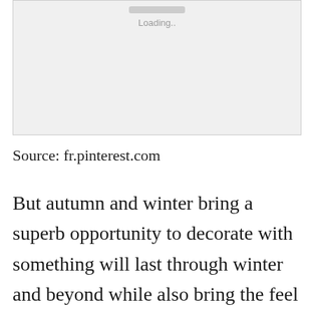[Figure (screenshot): Loading placeholder image with a gray background, a small loading bar at the top and 'Loading..' text below it]
Source: fr.pinterest.com
But autumn and winter bring a superb opportunity to decorate with something will last through winter and beyond while also bring the feel is crispy leaves inside in a stunning way. Article from housetohomecouk Cosy living room design ideas Ideal Home [CLOSE X badge] a range of cosy